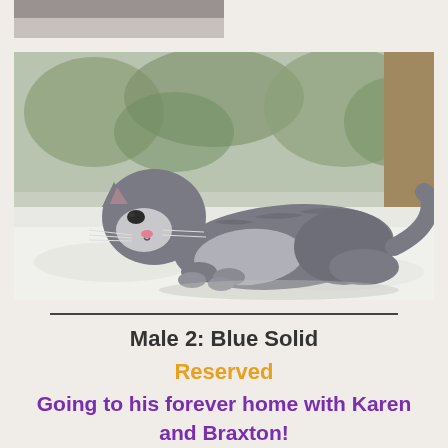[Figure (photo): Partial photo visible at top of page, cropped, appears to be a cat photo cut off at the top edge]
[Figure (photo): A small grey and white kitten lying/crawling on a white fluffy blanket or surface, viewed from the side, with greenery visible through a window in the background]
Male 2:  Blue Solid
Reserved
Going to his forever home with Karen and Braxton!